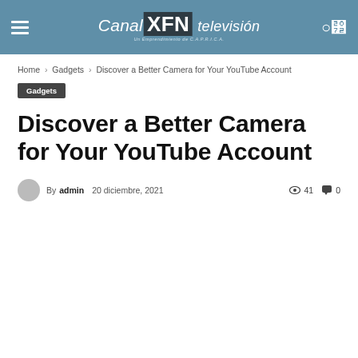Canal XFN televisión
Home › Gadgets › Discover a Better Camera for Your YouTube Account
Gadgets
Discover a Better Camera for Your YouTube Account
By admin   20 diciembre, 2021   41   0